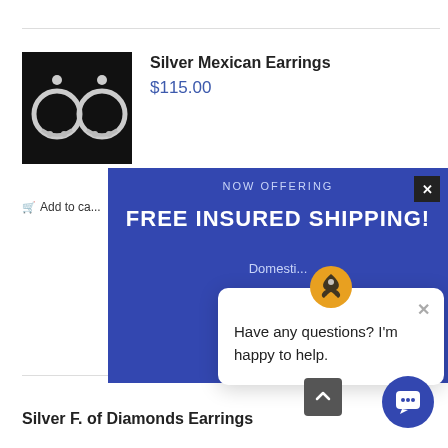[Figure (photo): Photo of silver Mexican hoop earrings against a black background]
Silver Mexican Earrings
$115.00
[Figure (infographic): Blue promotional banner overlay reading NOW OFFERING FREE INSURED SHIPPING! with close button and partial text 'Domesti...']
[Figure (screenshot): Chat widget popup with logo icon and text: Have any questions? I'm happy to help.]
Add to ca...
Silver F. of Diamonds Earrings